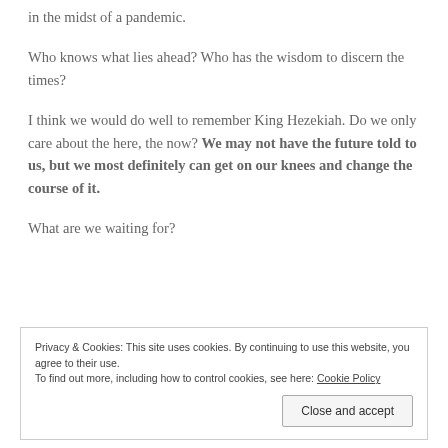in the midst of a pandemic.
Who knows what lies ahead? Who has the wisdom to discern the times?
I think we would do well to remember King Hezekiah. Do we only care about the here, the now? We may not have the future told to us, but we most definitely can get on our knees and change the course of it.
What are we waiting for?
Privacy & Cookies: This site uses cookies. By continuing to use this website, you agree to their use. To find out more, including how to control cookies, see here: Cookie Policy